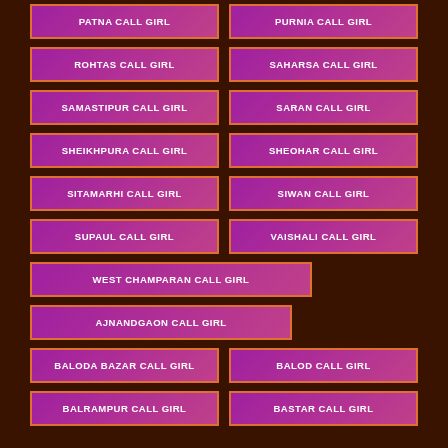PATNA CALL GIRL
PURNIA CALL GIRL
ROHTAS CALL GIRL
SAHARSA CALL GIRL
SAMASTIPUR CALL GIRL
SARAN CALL GIRL
SHEIKHPURA CALL GIRL
SHEOHAR CALL GIRL
SITAMARHI CALL GIRL
SIWAN CALL GIRL
SUPAUL CALL GIRL
VAISHALI CALL GIRL
WEST CHAMPARAN CALL GIRL
AJNANDGAON CALL GIRL
BALODA BAZAR CALL GIRL
BALOD CALL GIRL
BALRAMPUR CALL GIRL
BASTAR CALL GIRL